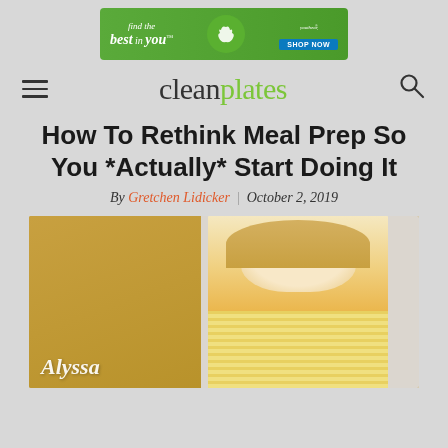[Figure (screenshot): Advertisement banner for youtheory supplement brand with green background, text 'find the best in you' and a SHOP NOW button]
clean plates
How To Rethink Meal Prep So You *Actually* Start Doing It
By Gretchen Lidicker | October 2, 2019
[Figure (photo): Photo of Alyssa, a smiling blonde woman in a yellow striped shirt holding an apple, seated against a white and gold background. The name 'Alyssa' appears in white text at the bottom left.]